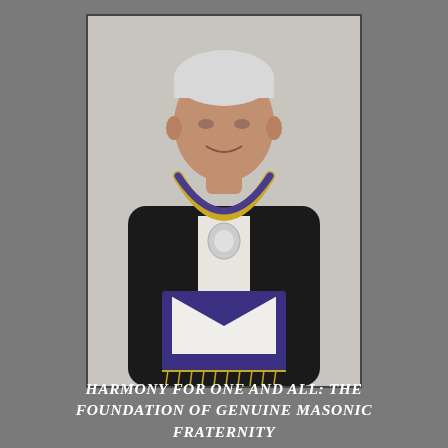[Figure (photo): Portrait photograph of an older Asian man wearing a black tuxedo with bow tie, a Masonic chain/collar with gold and jewels around his neck, a Masonic apron in purple and white with gold fringe at the waist. He has gray/white hair and is smiling slightly against a light gray studio background.]
HARMONY FOR ONE AND ALL: THE FOUNDATION OF GENUINE MASONIC FRATERNITY